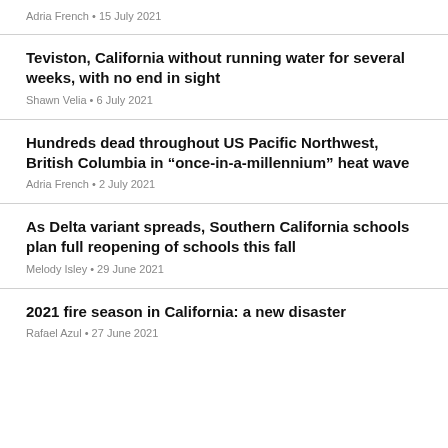Adria French • 15 July 2021
Teviston, California without running water for several weeks, with no end in sight
Shawn Velia • 6 July 2021
Hundreds dead throughout US Pacific Northwest, British Columbia in “once-in-a-millennium” heat wave
Adria French • 2 July 2021
As Delta variant spreads, Southern California schools plan full reopening of schools this fall
Melody Isley • 29 June 2021
2021 fire season in California: a new disaster
Rafael Azul • 27 June 2021